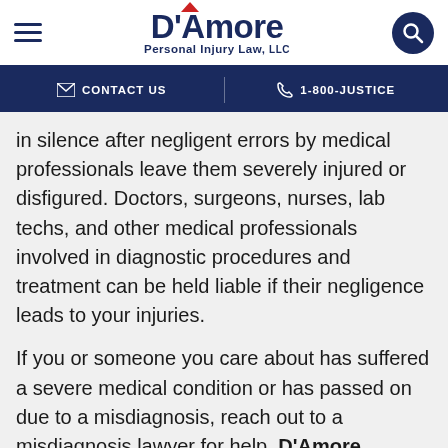D'Amore Personal Injury Law, LLC
CONTACT US | 1-800-JUSTICE
in silence after negligent errors by medical professionals leave them severely injured or disfigured. Doctors, surgeons, nurses, lab techs, and other medical professionals involved in diagnostic procedures and treatment can be held liable if their negligence leads to your injuries.
If you or someone you care about has suffered a severe medical condition or has passed on due to a misdiagnosis, reach out to a misdiagnosis lawyer for help. D'Amore Personal Injury Law will prepare an airtight medical malpractice case to